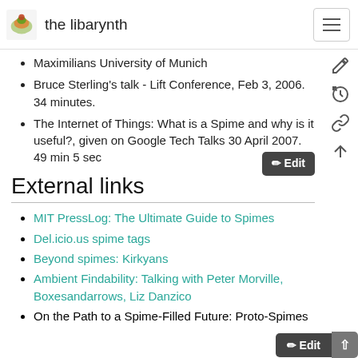the libarynth
Maximilians University of Munich
Bruce Sterling's talk - Lift Conference, Feb 3, 2006. 34 minutes.
The Internet of Things: What is a Spime and why is it useful?, given on Google Tech Talks 30 April 2007. 49 min 5 sec
External links
MIT PressLog: The Ultimate Guide to Spimes
Del.icio.us spime tags
Beyond spimes: Kirkyans
Ambient Findability: Talking with Peter Morville, Boxesandarrows, Liz Danzico
On the Path to a Spime-Filled Future: Proto-Spimes